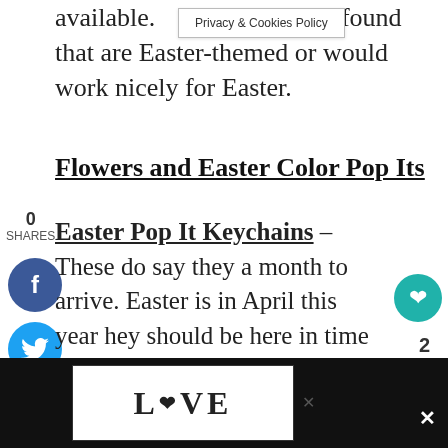available. have found that are Easter-themed or would work nicely for Easter.
Flowers and Easter Color Pop Its
0
SHARES
Easter Pop It Keychains – These do say they a month to arrive. Easter is in April this year hey should be here in time for Easter if you der during Feb.
Pop It Bracelets – These look like fur colors.
WHAT'S NEXT → Free Easter Coloring Bo...
[Figure (screenshot): Bottom advertisement banner with decorative LOOVE text logo in black and white illustration style, with close buttons]